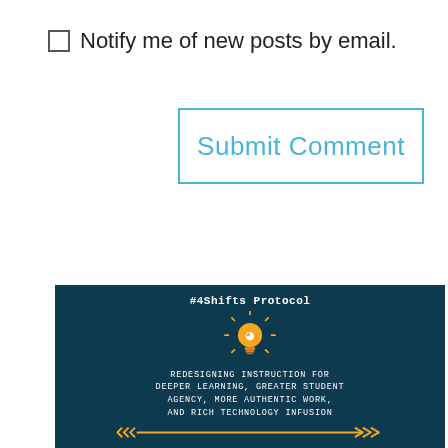Notify me of new posts by email.
Submit Comment
[Figure (infographic): #4Shifts Protocol banner with lightbulb icon and text: REDESIGNING INSTRUCTION FOR DEEPER LEARNING, GREATER STUDENT AGENCY, MORE AUTHENTIC WORK, AND RICH TECHNOLOGY INFUSION, with arrow decoration at bottom]